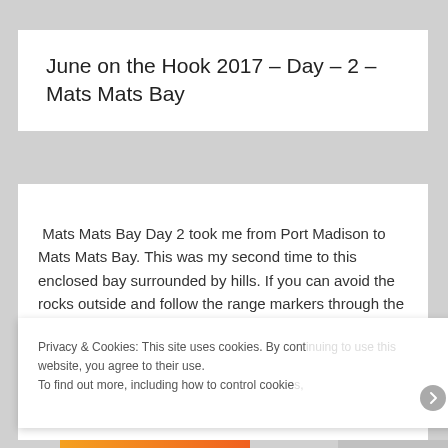June on the Hook 2017 – Day – 2 – Mats Mats Bay
Mats Mats Bay Day 2 took me from Port Madison to Mats Mats Bay. This was my second time to this enclosed bay surrounded by hills. If you can avoid the rocks outside and follow the range markers through the narrow, doglegged channel, you will find a very protected
Privacy & Cookies: This site uses cookies. By continuing to use this website, you agree to their use.
To find out more, including how to control cookies,